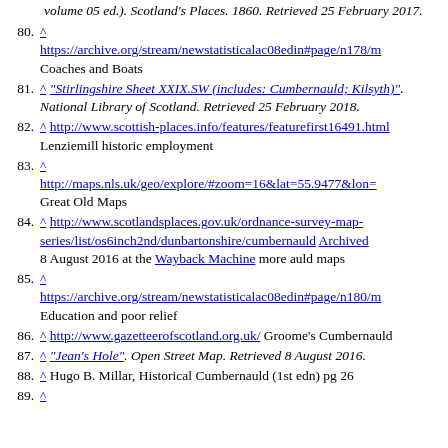volume 05 ed.). Scotland's Places. 1860. Retrieved 25 February 2017.
80. ^ https://archive.org/stream/newstatisticalac08edin#page/n178/m Coaches and Boats
81. ^ "Stirlingshire Sheet XXIX.SW (includes: Cumbernauld; Kilsyth)". National Library of Scotland. Retrieved 25 February 2018.
82. ^ http://www.scottish-places.info/features/featurefirst16491.html Lenziemill historic employment
83. ^ http://maps.nls.uk/geo/explore/#zoom=16&lat=55.9477&lon= Great Old Maps
84. ^ http://www.scotlandsplaces.gov.uk/ordnance-survey-map-series/list/os6inch2nd/dunbartonshire/cumbernauld Archived 8 August 2016 at the Wayback Machine more auld maps
85. ^ https://archive.org/stream/newstatisticalac08edin#page/n180/m Education and poor relief
86. ^ http://www.gazetteerofscotland.org.uk/ Groome's Cumbernauld
87. ^ "Jean's Hole". Open Street Map. Retrieved 8 August 2016.
88. ^ Hugo B. Millar, Historical Cumbernauld (1st edn) pg 26
89. ^